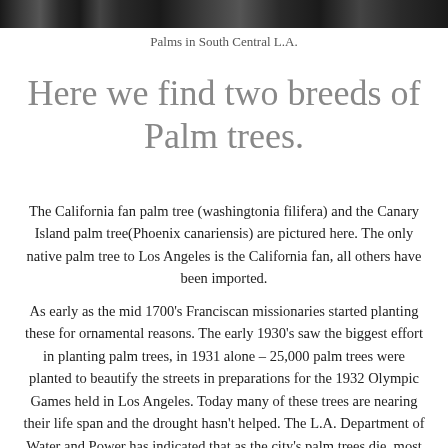[Figure (photo): Black and white photograph strip showing palm trees in South Central L.A.]
Palms in South Central L.A.
Here we find two breeds of Palm trees.
The California fan palm tree (washingtonia filifera) and the Canary Island palm tree(Phoenix canariensis) are pictured here. The only native palm tree to Los Angeles is the California fan, all others have been imported.
As early as the mid 1700's Franciscan missionaries started planting these for ornamental reasons. The early 1930's saw the biggest effort in planting palm trees, in 1931 alone – 25,000 palm trees were planted to beautify the streets in preparations for the 1932 Olympic Games held in Los Angeles. Today many of these trees are nearing their life span and the drought hasn't helped. The L.A. Department of Water and Power has indicated that as the city's palm trees die, most will not be replaced with new palms but with trees more adapted to the region's semi-arid climate, requiring less water and